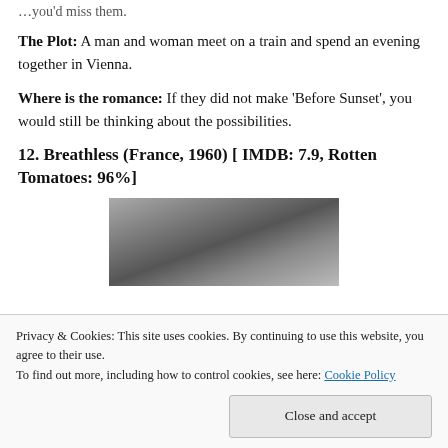…you'd miss them.
The Plot: A man and woman meet on a train and spend an evening together in Vienna.
Where is the romance: If they did not make 'Before Sunset', you would still be thinking about the possibilities.
12. Breathless (France, 1960) [ IMDB: 7.9, Rotten Tomatoes: 96%]
[Figure (photo): Black and white film still from Breathless (1960), showing a man wearing a fedora hat]
Privacy & Cookies: This site uses cookies. By continuing to use this website, you agree to their use.
To find out more, including how to control cookies, see here: Cookie Policy
Close and accept